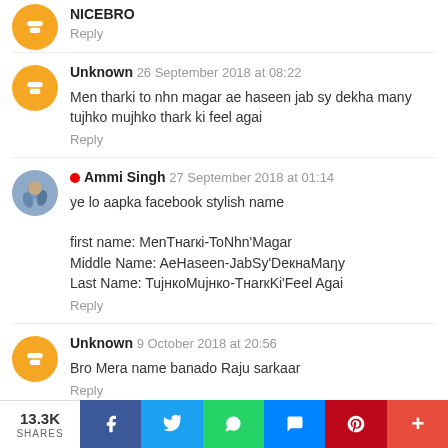NICEBRO
Reply
Unknown 26 September 2018 at 08:22
Men tharki to nhn magar ae haseen jab sy dekha many tujhko mujhko thark ki feel agai
Reply
Ammi Singh 27 September 2018 at 01:14
ye lo aapka facebook stylish name
first name: MenTнarкi-ToNhn'Magar
Middle Name: AeHaseen-JabSy'DeкнaMaηy
Last Name: TujнкоMujнкo-TнarкKi'Feel Agai
Reply
Unknown 9 October 2018 at 20:56
Bro Mera name banado Raju sarkaar
Reply